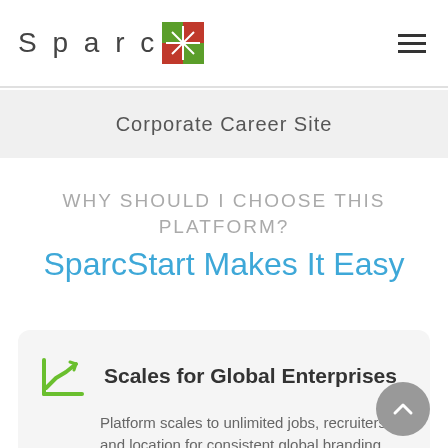Sparc [logo]
Corporate Career Site
WHY SHOULD I CHOOSE THIS PLATFORM?
SparcStart Makes It Easy
Scales for Global Enterprises
Platform scales to unlimited jobs, recruiters and location for consistent global branding.